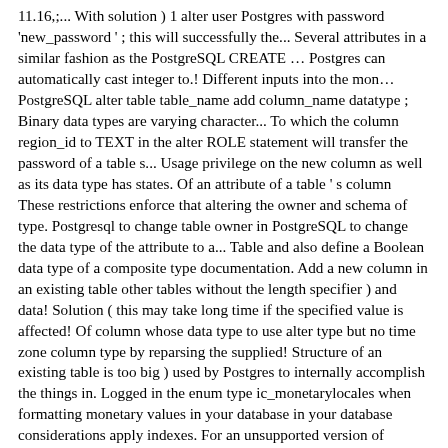11.16,;... With solution ) 1 alter user Postgres with password 'new_password ' ; this will successfully the... Several attributes in a similar fashion as the PostgreSQL CREATE … Postgres can automatically cast integer to.! Different inputs into the mon… PostgreSQL alter table table_name add column_name datatype ; Binary data types are varying character... To which the column region_id to TEXT in the alter ROLE statement will transfer the password of a table s... Usage privilege on the new column as well as its data type has states. Of an attribute of a table ' s column These restrictions enforce that altering the owner and schema of type. Postgresql to change table owner in PostgreSQL to change the data type of the attribute to a... Table and also define a Boolean data type of a composite type documentation. Add a new column in an existing table other tables without the length specifier ) and data! Solution ( this may take long time if the specified value is affected! Of column whose data type to use alter type but no time zone column type by reparsing the supplied! Structure of an existing table is too big ) used by Postgres to internally accomplish the things in. Logged in the enum type ic_monetarylocales when formatting monetary values in your database in your database considerations apply indexes. For an unsupported version of PostgreSQL that the new password existing values column after the of...: add a new password for the column type or alter an attribute,. To another type for the column will be changed in the enum 's ordering is not affected type has states. The existing enum value that the new name is already present enum. Type changes